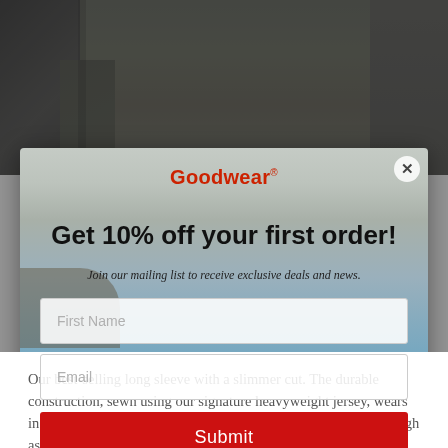[Figure (photo): Product photo of person wearing dark olive/charcoal long sleeve shirt, top portion visible]
[Figure (screenshot): Modal popup overlay on e-commerce site for Goodwear with coastal background image. Contains logo, headline 'Get 10% off your first order!', subtitle, First Name input, Email input, Submit button, and No thanks link]
Get 10% off your first order!
Join our mailing list to receive exclusive deals and news.
First Name
Email
Submit
No thanks
Our best-selling long sleeve with a slimmer cut. The durable construction, sewn using our signature heavyweight jersey, wears in with every wash and lasts for years. This long sleeve tee is tough as nails, and as always, made in USA.